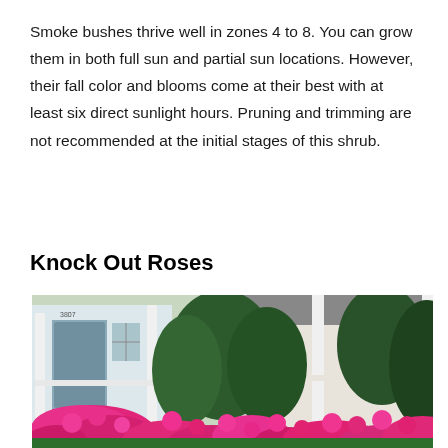Smoke bushes thrive well in zones 4 to 8. You can grow them in both full sun and partial sun locations. However, their fall color and blooms come at their best with at least six direct sunlight hours. Pruning and trimming are not recommended at the initial stages of this shrub.
Knock Out Roses
[Figure (photo): Photo of bright pink Knock Out roses blooming in front of a white house with a porch, with dark green shrubs/trees in the background.]